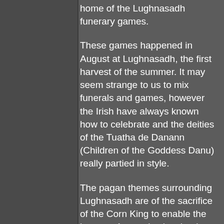home of the Lughnasadh funerary games.
These games happened in August at Lughnasadh, the first harvest of the summer. It may seem strange to us to mix funerals and games, however the Irish have always known how to celebrate and the deities of the Tuatha de Danann (Children of the Goddess Danu) really partied in style.
The pagan themes surrounding Lughnasadh are of the sacrifice of the Corn King to enable the harvest. August is also the time of year for Poppies to flower, and so the evocative red petals on the yellowing fields came to represent the blood of the Corn King